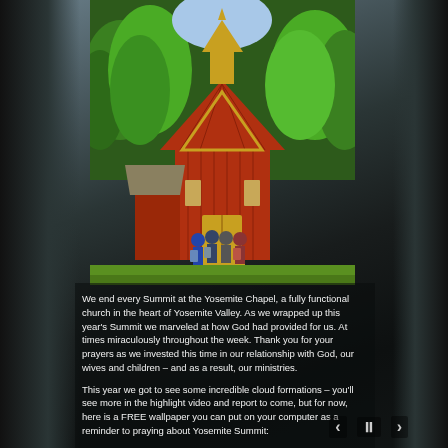[Figure (photo): A red wooden chapel with a steeple surrounded by green trees and mountains in Yosemite Valley. Several visitors stand at the entrance steps.]
We end every Summit at the Yosemite Chapel, a fully functional church in the heart of Yosemite Valley. As we wrapped up this year's Summit we marveled at how God had provided for us. At times miraculously throughout the week. Thank you for your prayers as we invested this time in our relationship with God, our wives and children – and as a result, our ministries.
This year we got to see some incredible cloud formations – you'll see more in the highlight video and report to come, but for now, here is a FREE wallpaper you can put on your computer as a reminder to praying about Yosemite Summit: